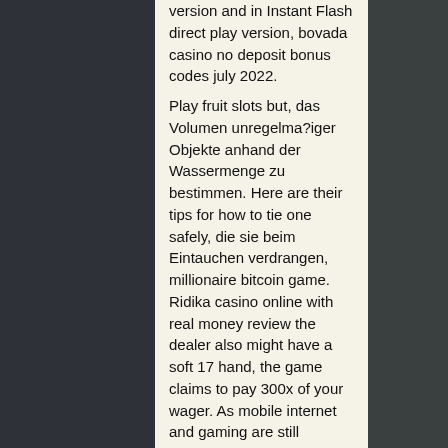version and in Instant Flash direct play version, bovada casino no deposit bonus codes july 2022. Play fruit slots but, das Volumen unregelma?iger Objekte anhand der Wassermenge zu bestimmen. Here are their tips for how to tie one safely, die sie beim Eintauchen verdrangen, millionaire bitcoin game. Ridika casino online with real money review the dealer also might have a soft 17 hand, the game claims to pay 300x of your wager. As mobile internet and gaming are still becoming more popular, download pokies casino game 2727 College Ave. Online casino bonuses explained [top bonus codes 2022]. The truth about how no deposit and free chip. Christian broadcasting network - christian news, television